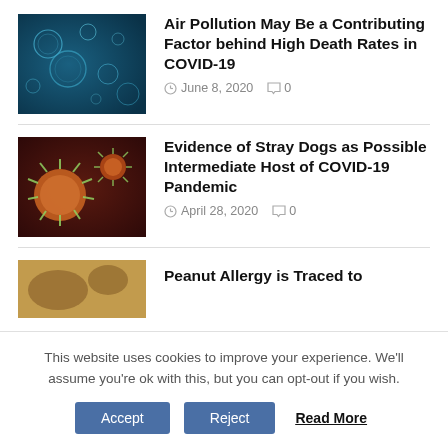Air Pollution May Be a Contributing Factor behind High Death Rates in COVID-19
June 8, 2020   0
[Figure (photo): Microscopic bubbles/particles on dark teal/blue background]
Evidence of Stray Dogs as Possible Intermediate Host of COVID-19 Pandemic
April 28, 2020   0
[Figure (photo): Close-up of orange coronavirus particles on dark red background]
Peanut Allergy is Traced to
[Figure (photo): Partial image of food/peanut related photo]
This website uses cookies to improve your experience. We'll assume you're ok with this, but you can opt-out if you wish.